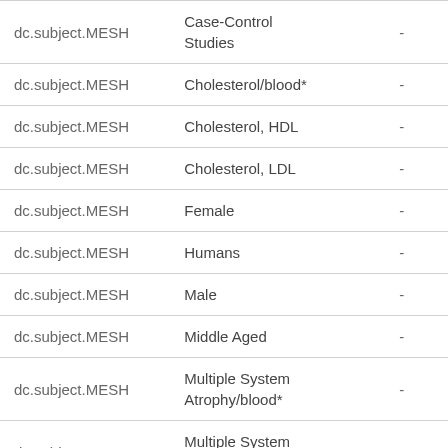| Field | Value |  |
| --- | --- | --- |
| dc.subject.MESH | Case-Control Studies | - |
| dc.subject.MESH | Cholesterol/blood* | - |
| dc.subject.MESH | Cholesterol, HDL | - |
| dc.subject.MESH | Cholesterol, LDL | - |
| dc.subject.MESH | Female | - |
| dc.subject.MESH | Humans | - |
| dc.subject.MESH | Male | - |
| dc.subject.MESH | Middle Aged | - |
| dc.subject.MESH | Multiple System Atrophy/blood* | - |
| dc.subject.MESH | Multiple System Atrophy/etiology | - |
| dc.subject.MESH | Odds Ratio | - |
| dc.subject.MESH | Retrospective... |  |